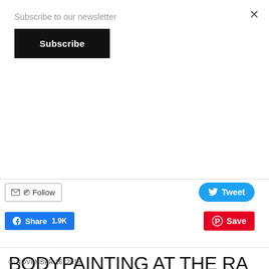Subscribe to our newsletter
Subscribe
Follow
Tweet
Share 1.9K
Save
BODYPAINTING AT THE RA CIRCUS
NOVEMBER 16, 2018